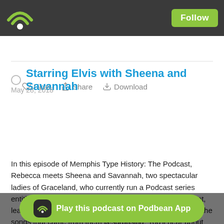Podbean – Follow
Likes  Share  Download
Starring Elvis with Sheena and Savannah
May 28, 2018
[Figure (other): Podbean podcast audio player widget with logo watermark]
In this episode of Memphis Type History: The Podcast, Rebecca meets Sheena and Savannah, two spectacular ladies of Graceland, who currently run a Podcast series entitled "Starring Elvis." Whether you're an Elvis fan or not, learning about the movies the artist put his heart into and the songs that came from them is surprising. You'll hear about Sheena and Savannah's Elvis favorites, some Elvis movie history, and what inspired the the two to start thi...
Play this podcast on Podbean App